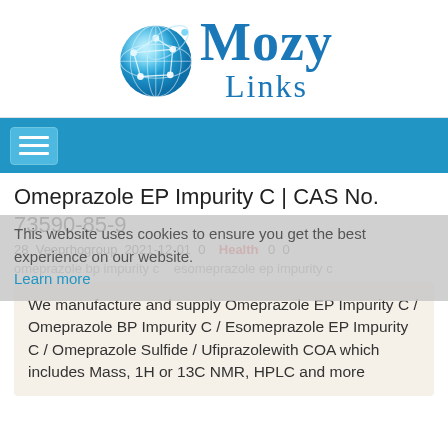[Figure (logo): Mozy Links logo with blue globe icon and text 'Mozy Links' in blue serif font]
[Figure (other): Navigation bar with hamburger menu button on blue background]
Omeprazole EP Impurity C | CAS No. 73590-85-9
This website uses cookies to ensure you get the best experience on our website. Learn more
28  Veeprhogroup  2021-12-01  0  Health  0  0
omeprazole bp impurity c   esomeprazole ep impurity c
We manufacture and supply Omeprazole EP Impurity C / Omeprazole BP Impurity C / Esomeprazole EP Impurity C / Omeprazole Sulfide / Ufiprazolewith COA which includes Mass, 1H or 13C NMR, HPLC and more